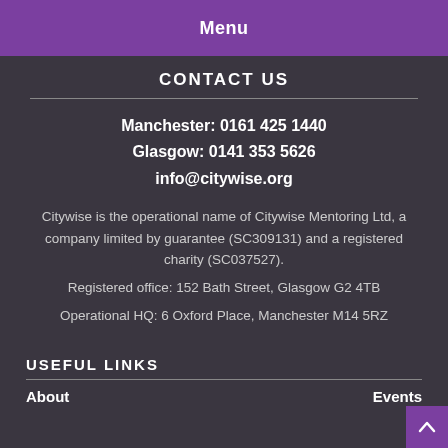Menu
CONTACT US
Manchester: 0161 425 1440
Glasgow: 0141 353 5626
info@citywise.org
Citywise is the operational name of Citywise Mentoring Ltd, a company limited by guarantee (SC309131) and a registered charity (SC037527).
Registered office: 152 Bath Street, Glasgow G2 4TB
Operational HQ: 6 Oxford Place, Manchester M14 5RZ
USEFUL LINKS
About
Events